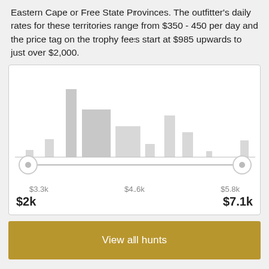Eastern Cape or Free State Provinces. The outfitter's daily rates for these territories range from $350 - 450 per day and the price tag on the trophy fees start at $985 upwards to just over $2,000.
[Figure (histogram): Price range histogram]
View all hunts
When to hunt Grey Rhebok?